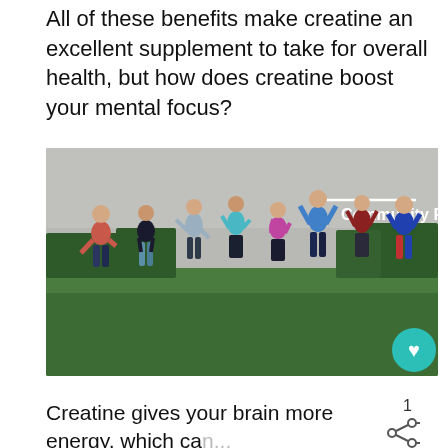All of these benefits make creatine an excellent supplement to take for overall health, but how does creatine boost your mental focus?
[Figure (photo): Group of children and adults jumping and celebrating energetically on a green field with trees in background. A white horizontal line and 'Community Fitness' text appear in the upper right of the image. A teal heart/favorite button appears in the bottom right corner of the image.]
1
Creatine gives your brain more energy, which ca... be used CT for cognitive affected. Resea... from a...